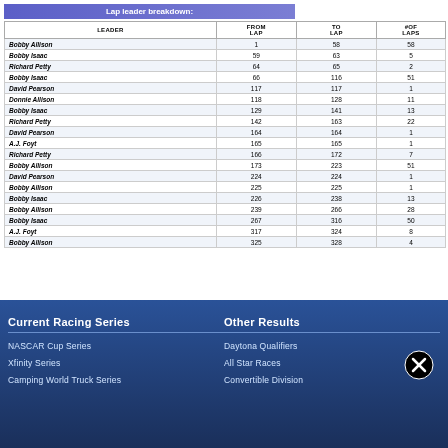Lap leader breakdown:
| LEADER | FROM LAP | TO LAP | # OF LAPS |
| --- | --- | --- | --- |
| Bobby Allison | 1 | 58 | 58 |
| Bobby Isaac | 59 | 63 | 5 |
| Richard Petty | 64 | 65 | 2 |
| Bobby Isaac | 66 | 116 | 51 |
| David Pearson | 117 | 117 | 1 |
| Donnie Allison | 118 | 128 | 11 |
| Bobby Isaac | 129 | 141 | 13 |
| Richard Petty | 142 | 163 | 22 |
| David Pearson | 164 | 164 | 1 |
| A.J. Foyt | 165 | 165 | 1 |
| Richard Petty | 166 | 172 | 7 |
| Bobby Allison | 173 | 223 | 51 |
| David Pearson | 224 | 224 | 1 |
| Bobby Allison | 225 | 225 | 1 |
| Bobby Isaac | 226 | 238 | 13 |
| Bobby Allison | 239 | 266 | 28 |
| Bobby Isaac | 267 | 316 | 50 |
| A.J. Foyt | 317 | 324 | 8 |
| Bobby Allison | 325 | 328 | 4 |
Current Racing Series
Other Results
NASCAR Cup Series
Daytona Qualifiers
Xfinity Series
All Star Races
Camping World Truck Series
Convertible Division